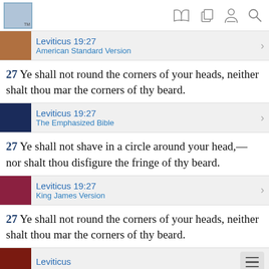Bible app header with logo and navigation icons
Leviticus 19:27 — American Standard Version
27  Ye shall not round the corners of your heads, neither shalt thou mar the corners of thy beard.
Leviticus 19:27 — The Emphasized Bible
27  Ye shall not shave in a circle around your head,— nor shalt thou disfigure the fringe of thy beard.
Leviticus 19:27 — King James Version
27  Ye shall not round the corners of your heads, neither shalt thou mar the corners of thy beard.
Leviticus